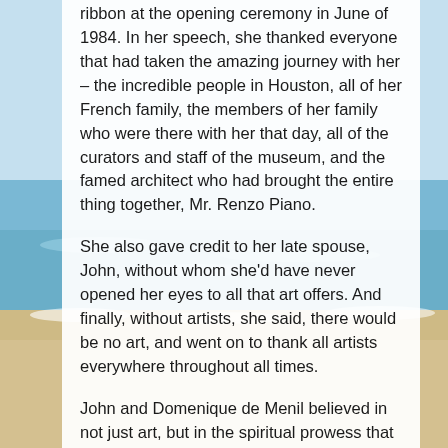ribbon at the opening ceremony in June of 1984. In her speech, she thanked everyone that had taken the amazing journey with her – the incredible people in Houston, all of her French family, the members of her family who were there with her that day, all of the curators and staff of the museum, and the famed architect who had brought the entire thing together, Mr. Renzo Piano.
She also gave credit to her late spouse, John, without whom she'd have never opened her eyes to all that art offers. And finally, without artists, she said, there would be no art, and went on to thank all artists everywhere throughout all times.
John and Domenique de Menil believed in not just art, but in the spiritual prowess that lies inherently within all art. Because of this grand belief, together they built